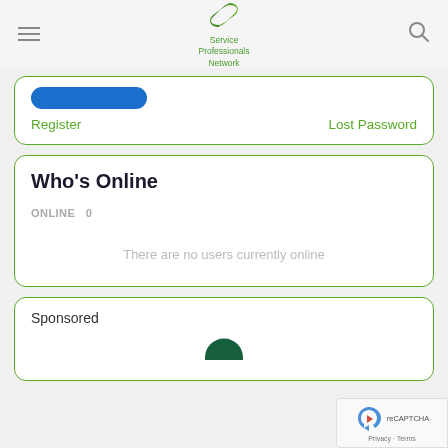Service Professionals Network
[Figure (logo): Service Professionals Network logo with green S-shaped icon]
Register    Lost Password
Who's Online
ONLINE  0
There are no users currently online
Sponsored